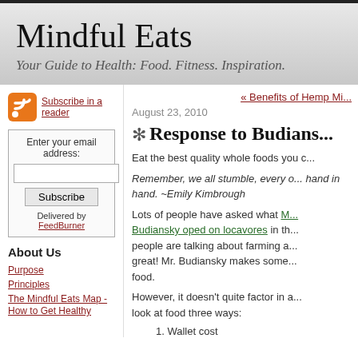Mindful Eats
Your Guide to Health: Food. Fitness. Inspiration.
Subscribe in a reader
Enter your email address:
Subscribe
Delivered by FeedBurner
About Us
Purpose
Principles
The Mindful Eats Map - How to Get Healthy
« Benefits of Hemp Mi...
August 23, 2010
Response to Budians...
Eat the best quality whole foods you c...
Remember, we all stumble, every... hand in hand. ~Emily Kimbrough
Lots of people have asked what M... Budiansky oped on locavores in th... people are talking about farming a... great! Mr. Budiansky makes some... food.
However, it doesn't quite factor in a... look at food three ways:
1. Wallet cost